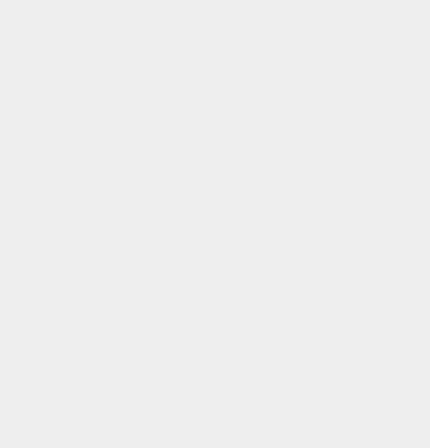Gospel they were immediately baptized when it was after midnight. Why not wait for the ceremonial periodical baptism unless it was immediately important?

Baptism in Jesus's name is when believers receive the sanctification and justification of the Spirit (1 Cor 6:11, cf 1 Cor 1:11-13). I find neither one was saved until they died, were buried, and